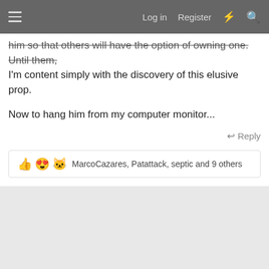Log in  Register
him so that others will have the option of owning one. Until then, I'm content simply with the discovery of this elusive prop.
Now to hang him from my computer monitor...
↩ Reply
👍😍🐱 MarcoCazares, Patattack, septic and 9 others